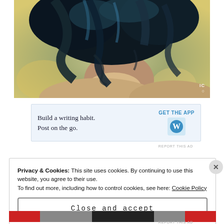[Figure (photo): Close-up photo of a person with dark blue/teal hair viewed from behind, showing the nape of their neck, with a warm yellow-tinted bokeh background. A small watermark/logo appears in the bottom right corner.]
[Figure (other): WordPress mobile app advertisement banner with light blue background. Text reads 'Build a writing habit. Post on the go.' with 'GET THE APP' link and WordPress logo on the right.]
REPORT THIS AD
Privacy & Cookies: This site uses cookies. By continuing to use this website, you agree to their use.
To find out more, including how to control cookies, see here: Cookie Policy
Close and accept